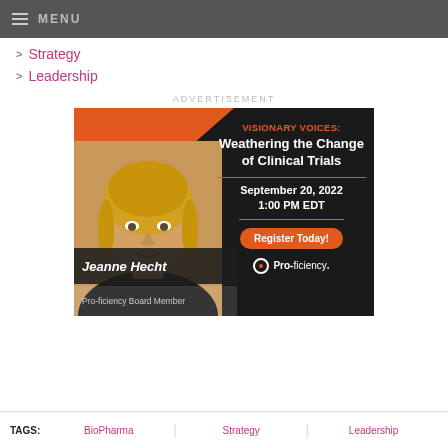MENU
Strategy
Leadership
ADVERTISEMENT
[Figure (infographic): Advertisement for Pro-ficiency webinar: VISIONARY VOICES: Weathering the Change of Clinical Trials. September 20, 2022 1:00 PM EDT. Speaker: Jeanne Hecht, Pro-ficiency Board Member. Register Today! Pro-ficiency logo.]
TAGS: BioPharma   Strategy   Leadership